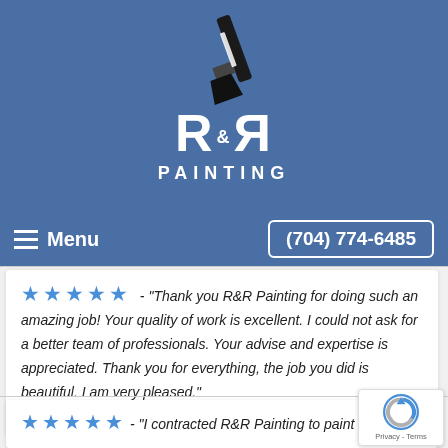[Figure (logo): R&R Painting logo with paint brush above the letters R&R and PAINTING text below, on a blue background]
≡ Menu    (704) 774-6485
★★★★★ - "Thank you R&R Painting for doing such an amazing job! Your quality of work is excellent. I could not ask for a better team of professionals. Your advise and expertise is appreciated. Thank you for everything, the job you did is beautiful. I am very pleased."
Kathy Davis
★★★★★ - "I contracted R&R Painting to paint my